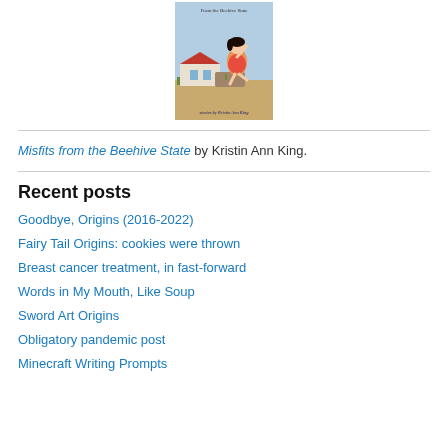[Figure (illustration): Book cover image for 'Misfits from the Beehive State' by Kristin Ann King, showing a pin-up style woman in a red swimsuit sitting on a rock with a house in the background, blue sky.]
Misfits from the Beehive State by Kristin Ann King.
Recent posts
Goodbye, Origins (2016-2022)
Fairy Tail Origins: cookies were thrown
Breast cancer treatment, in fast-forward
Words in My Mouth, Like Soup
Sword Art Origins
Obligatory pandemic post
Minecraft Writing Prompts